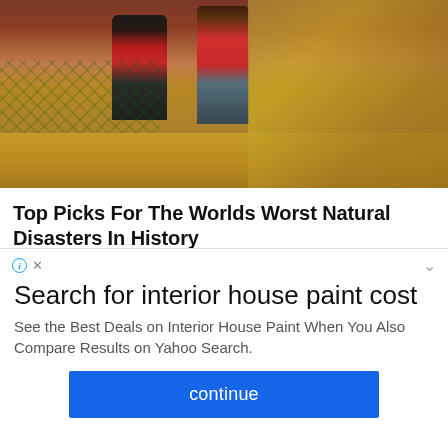[Figure (photo): Two people in casual clothing on sandy/muddy ground with debris and a net visible in the background]
Top Picks For The Worlds Worst Natural Disasters In History
BRAINBERRIES
Search for interior house paint cost
See the Best Deals on Interior House Paint When You Also Compare Results on Yahoo Search.
continue